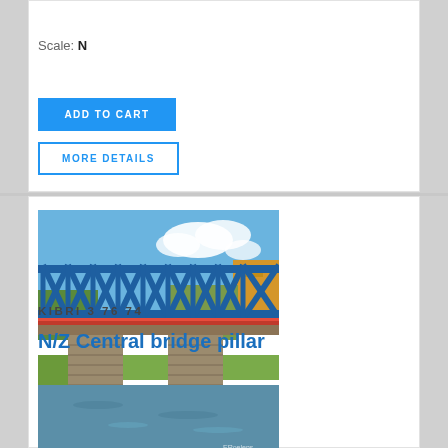Scale: N
ADD TO CART
MORE DETAILS
[Figure (photo): Model railway bridge with blue steel truss structure over water, stone pillars, red railings, with a European town background and cloudy blue sky]
KIBRI 3 76 74
N/Z Central bridge pillar